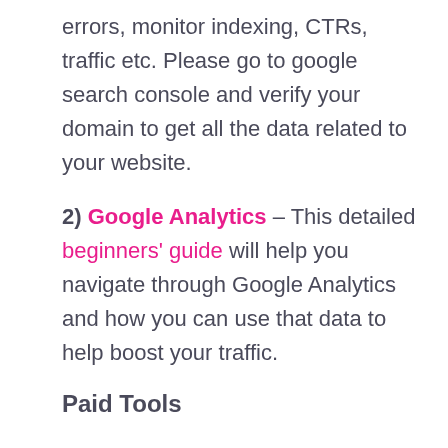errors, monitor indexing, CTRs, traffic etc. Please go to google search console and verify your domain to get all the data related to your website.
2) Google Analytics – This detailed beginners' guide will help you navigate through Google Analytics and how you can use that data to help boost your traffic.
Paid Tools